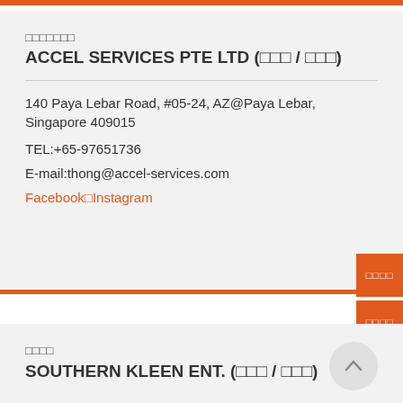□□□□□□□
ACCEL SERVICES PTE LTD (□□□ / □□□)
140 Paya Lebar Road, #05-24, AZ@Paya Lebar, Singapore 409015
TEL:+65-97651736
E-mail:thong@accel-services.com
Facebook□Instagram
□□□□
SOUTHERN KLEEN ENT. (□□□ / □□□)